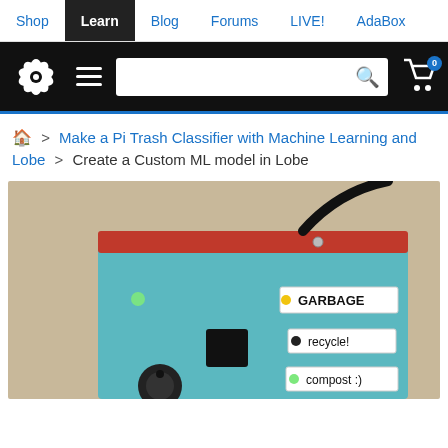Shop | Learn | Blog | Forums | LIVE! | AdaBox
[Figure (screenshot): Adafruit website header with black background, star logo, hamburger menu, search box, and cart icon with 0 badge]
🏠 > Make a Pi Trash Classifier with Machine Learning and Lobe > Create a Custom ML model in Lobe
[Figure (photo): Photo of a blue box with a red top edge and a black cable plugged in. On the right side are three labeled buttons: GARBAGE (yellow LED), recycle! (black dot), compost :) (green LED). A black knob is visible at the bottom.]